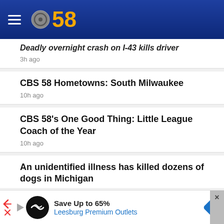CBS 58
Deadly overnight crash on I-43 kills driver
3h ago
CBS 58 Hometowns: South Milwaukee
10h ago
CBS 58's One Good Thing: Little League Coach of the Year
10h ago
An unidentified illness has killed dozens of dogs in Michigan
10h ago
Save Up to 65% Leesburg Premium Outlets